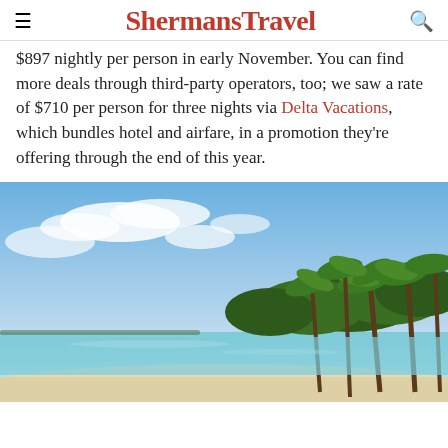ShermansTravel
$897 nightly per person in early November. You can find more deals through third-party operators, too; we saw a rate of $710 per person for three nights via Delta Vacations, which bundles hotel and airfare, in a promotion they're offering through the end of this year.
[Figure (photo): Tropical beach scene with white sand, turquoise water, palm trees, and partly cloudy blue sky]